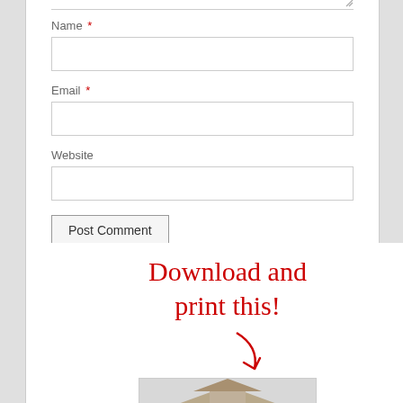Name *
Email *
Website
Post Comment
[Figure (illustration): Handwritten red text saying 'Download and print this!' with a curved red arrow pointing down to a photo of a covered bridge building structure.]